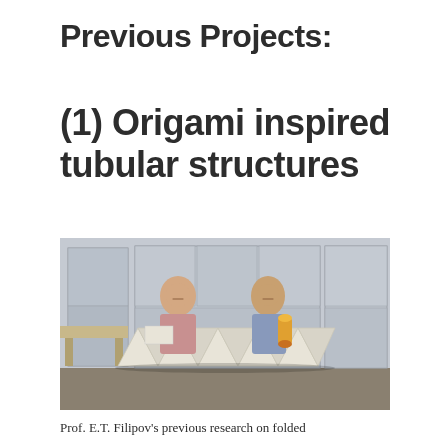Previous Projects:
(1) Origami inspired tubular structures
[Figure (photo): Two men sitting behind a large folded origami-inspired tubular structure in a laboratory setting. The man on the left holds a flat origami panel, the man on the right holds a cylindrical yellow origami structure. A large accordion-folded structure is in front of them.]
Prof. E.T. Filipov's previous research on folded